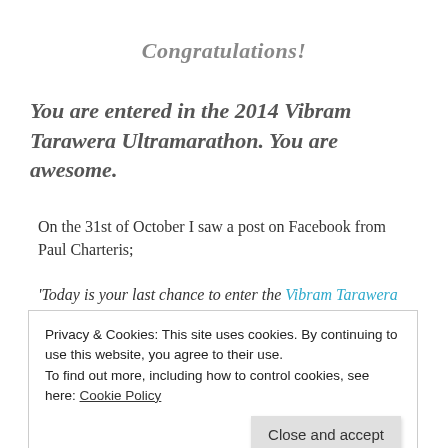Congratulations!
You are entered in the 2014 Vibram Tarawera Ultramarathon. You are awesome.
On the 31st of October I saw a post on Facebook from Paul Charteris;
'Today is your last chance to enter the Vibram Tarawera Ultramarathon at the early bird rate!'
Privacy & Cookies: This site uses cookies. By continuing to use this website, you agree to their use.
To find out more, including how to control cookies, see here: Cookie Policy
would be conscious and the weather would be clear